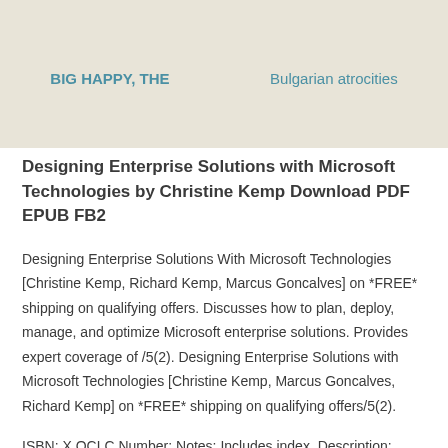BIG HAPPY, THE | Bulgarian atrocities
Designing Enterprise Solutions with Microsoft Technologies by Christine Kemp Download PDF EPUB FB2
Designing Enterprise Solutions With Microsoft Technologies [Christine Kemp, Richard Kemp, Marcus Goncalves] on *FREE* shipping on qualifying offers. Discusses how to plan, deploy, manage, and optimize Microsoft enterprise solutions. Provides expert coverage of /5(2). Designing Enterprise Solutions with Microsoft Technologies [Christine Kemp, Marcus Goncalves, Richard Kemp] on *FREE* shipping on qualifying offers/5(2).
ISBN: X OCLC Number: Notes: Includes index. Description: xxxiv, pages: illustrations ; 24 cm. Contents: I. TECHNICAL. Published: September 2, Languages: Designing and Providing Microsoft